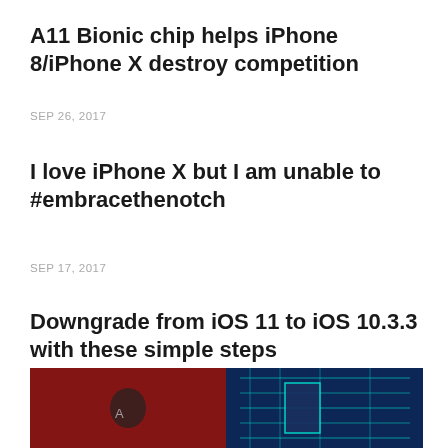A11 Bionic chip helps iPhone 8/iPhone X destroy competition
SEP 26, 2017
I love iPhone X but I am unable to #embracethenotch
SEP 17, 2017
Downgrade from iOS 11 to iOS 10.3.3 with these simple steps
AUG 14, 2017
YOU MAY ALSO LIKE
[Figure (photo): Two-panel image: left panel shows a dark background with Apple logo and text beginning with 'A', right panel shows a blue circuit board/chip close-up]